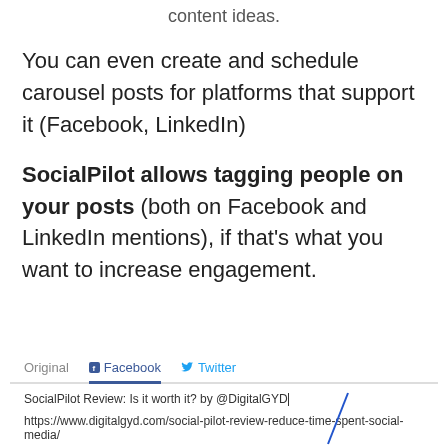content ideas.
You can even create and schedule carousel posts for platforms that support it (Facebook, LinkedIn)
SocialPilot allows tagging people on your posts (both on Facebook and LinkedIn mentions), if that's what you want to increase engagement.
[Figure (screenshot): UI screenshot showing tab bar with Original, Facebook (active/selected with blue underline), and Twitter tabs. Below is a text input box containing 'SocialPilot Review: Is it worth it? by @DigitalGYD' and a URL 'https://www.digitalgyd.com/social-pilot-review-reduce-time-spent-social-media/']